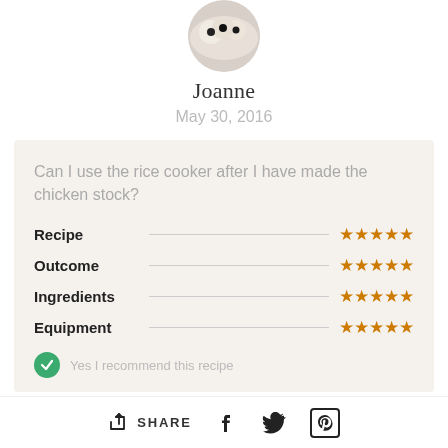[Figure (photo): Circular avatar photo of food (appetizers on a plate) cropped at top of page]
Joanne
May 30, 2016
Can I use the rice cooker after I have made the chicken stock?
| Category | Rating |
| --- | --- |
| Recipe | ★★★★★ |
| Outcome | ★★★★★ |
| Ingredients | ★★★★★ |
| Equipment | ★★★★★ |
Yes I recommend this recipe
SHARE  [facebook] [twitter] [pinterest]